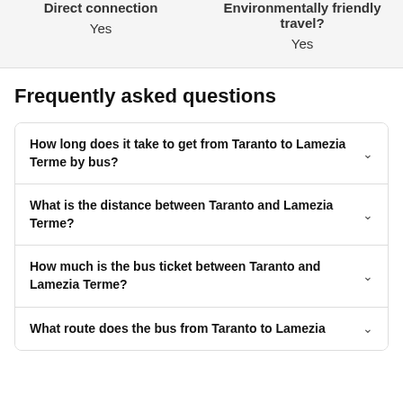| Direct connection | Environmentally friendly travel? |
| --- | --- |
| Yes | Yes |
Frequently asked questions
How long does it take to get from Taranto to Lamezia Terme by bus?
What is the distance between Taranto and Lamezia Terme?
How much is the bus ticket between Taranto and Lamezia Terme?
What route does the bus from Taranto to Lamezia